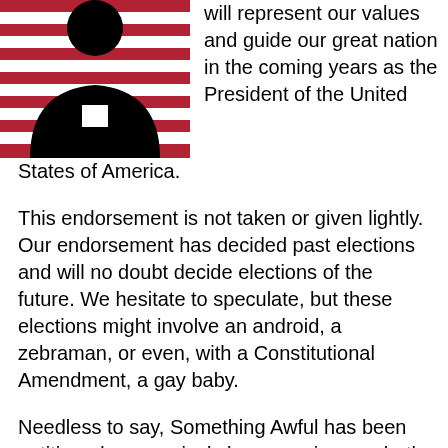[Figure (illustration): Black silhouette of a person against an American flag background with red and white stripes]
will represent our values and guide our great nation in the coming years as the President of the United States of America.
This endorsement is not taken or given lightly. Our endorsement has decided past elections and will no doubt decide elections of the future. We hesitate to speculate, but these elections might involve an android, a zebraman, or even, with a Constitutional Amendment, a gay baby.
Needless to say, Something Awful has been petitioned aggressively by campaigns on both sides of the aisle to come out in support of their candidates. Many of these candidates had good things to offer, including money and trays of sweet cakes, but we barred our doors and shuttered our windows to these corrupting influences.